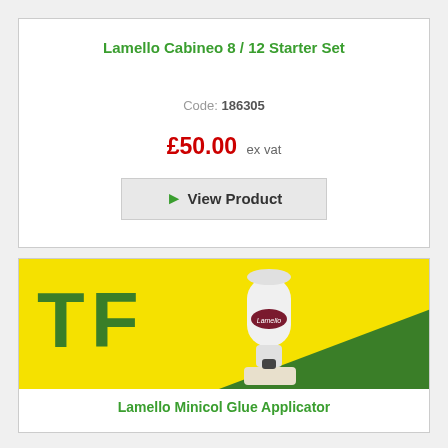Lamello Cabineo 8 / 12 Starter Set
Code: 186305
£50.00 ex vat
View Product
[Figure (photo): Lamello Minicol Glue Applicator product photo on yellow and green background with TF logo]
Lamello Minicol Glue Applicator